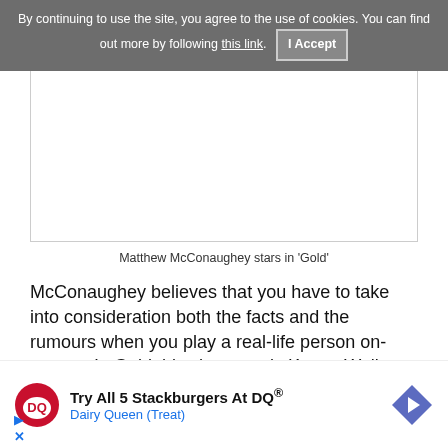By continuing to use the site, you agree to the use of cookies. You can find out more by following this link. | I Accept
[Figure (photo): White/blank image box representing Matthew McConaughey stars in 'Gold' movie still]
Matthew McConaughey stars in 'Gold'
McConaughey believes that you have to take into consideration both the facts and the rumours when you play a real-life person on-screen. In Gold, his character is Kenny Wells, based on the Canadian businessman David Walsh. "The facts don't really tell the sto[ry, because the]re's more t[o it than that,] there is in th[e facts].
[Figure (other): Dairy Queen advertisement: Try All 5 Stackburgers At DQ® - Dairy Queen (Treat) with DQ logo and navigation arrow]